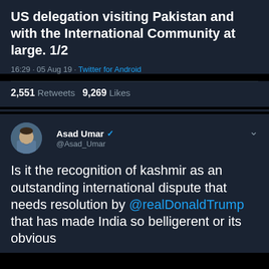US delegation visiting Pakistan and with the International Community at large. 1/2
16:29 · 05 Aug 19 · Twitter for Android
2,551 Retweets   9,269 Likes
Asad Umar @Asad_Umar
Is it the recognition of kashmir as an outstanding international dispute that needs resolution by @realDonaldTrump that has made India so belligerent or its obvious